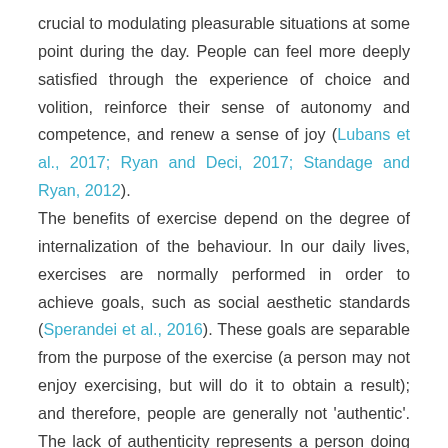crucial to modulating pleasurable situations at some point during the day. People can feel more deeply satisfied through the experience of choice and volition, reinforce their sense of autonomy and competence, and renew a sense of joy (Lubans et al., 2017; Ryan and Deci, 2017; Standage and Ryan, 2012). The benefits of exercise depend on the degree of internalization of the behaviour. In our daily lives, exercises are normally performed in order to achieve goals, such as social aesthetic standards (Sperandei et al., 2016). These goals are separable from the purpose of the exercise (a person may not enjoy exercising, but will do it to obtain a result); and therefore, people are generally not 'authentic'. The lack of authenticity represents a person doing an activity for contingent reward or punishment, feeling tense and pressured, lacking intentionality and being oriented to avoid guilt,